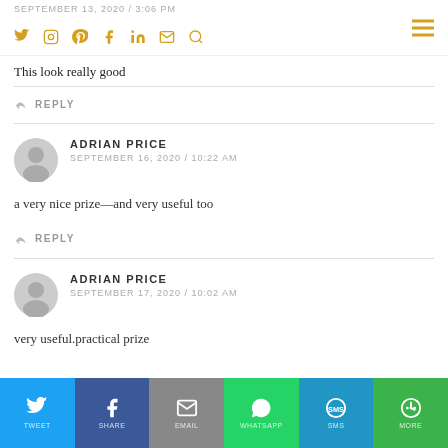SEPTEMBER 13, 2020 / 3:06 PM — social icons: Twitter, Instagram, Pinterest, Facebook, LinkedIn, Email, Search, Hamburger menu
This look really good
↩ REPLY
ADRIAN PRICE
SEPTEMBER 16, 2020 / 10:22 AM
a very nice prize—and very useful too
↩ REPLY
ADRIAN PRICE
SEPTEMBER 17, 2020 / 10:02 AM
very useful.practical prize
Social share bar: Twitter, Facebook, Email, WhatsApp, SMS, More